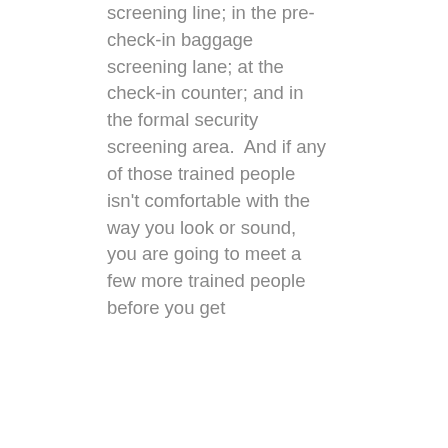screening line; in the pre-check-in baggage screening lane; at the check-in counter; and in the formal security screening area.  And if any of those trained people isn't comfortable with the way you look or sound, you are going to meet a few more trained people before you get